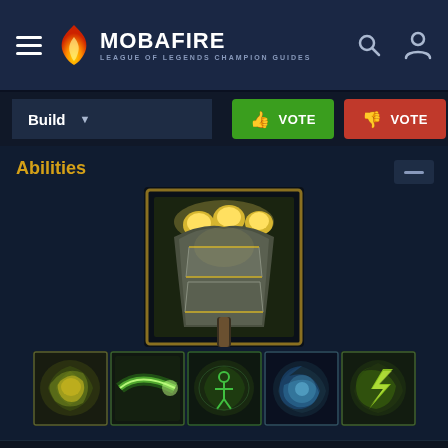MOBAFIRE — LEAGUE OF LEGENDS CHAMPION GUIDES
Build
Abilities
[Figure (screenshot): League of Legends champion portrait showing a glowing armored fist/gauntlet character with golden light effects]
[Figure (screenshot): Row of 5 ability icons for a League of Legends champion, showing green and yellow swirling energy abilities including passive and Q/W/E/R skills]
[Figure (screenshot): Single ability icon at bottom showing green and yellow swirling energy, similar to the passive ability shown above]